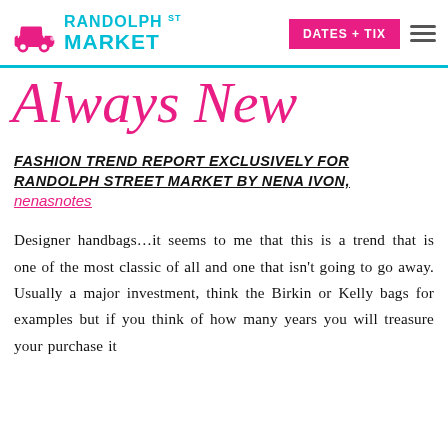Randolph Street Market | DATES + TIX
Always New
FASHION TREND REPORT EXCLUSIVELY FOR RANDOLPH STREET MARKET BY NENA IVON, nenasnotes
Designer handbags…it seems to me that this is a trend that is one of the most classic of all and one that isn't going to go away. Usually a major investment, think the Birkin or Kelly bags for examples but if you think of how many years you will treasure your purchase it